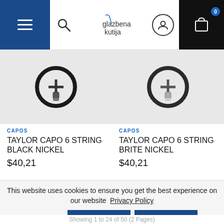glazbena kutija — navigation header with menu, search, logo, user icon, cart
[Figure (photo): Taylor Capo 6 String Black Nickel product photo — circular ring capo in dark/black finish]
CAPOS
TAYLOR CAPO 6 STRING BLACK NICKEL
$40,21
[Figure (photo): Taylor Capo 6 String Brite Nickel product photo — circular ring capo in silver/nickel finish]
CAPOS
TAYLOR CAPO 6 STRING BRITE NICKEL
$40,21
This website uses cookies to ensure you get the best experience on our website  Privacy Policy
Dismiss
Set Prefrences
Allow Cookies
Showing 1 to 24 of 50 (2 Pages)